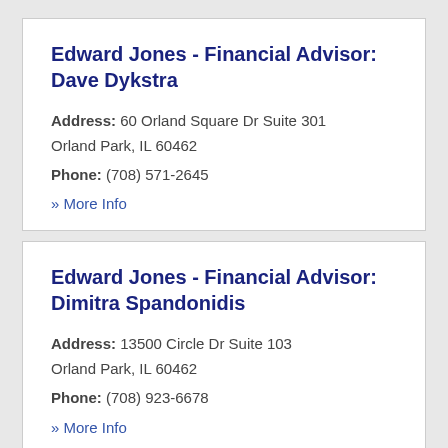Edward Jones - Financial Advisor: Dave Dykstra
Address: 60 Orland Square Dr Suite 301 Orland Park, IL 60462
Phone: (708) 571-2645
» More Info
Edward Jones - Financial Advisor: Dimitra Spandonidis
Address: 13500 Circle Dr Suite 103 Orland Park, IL 60462
Phone: (708) 923-6678
» More Info